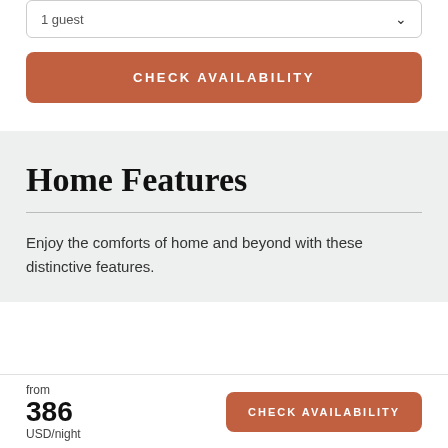1 guest
CHECK AVAILABILITY
Home Features
Enjoy the comforts of home and beyond with these distinctive features.
from
386
USD/night
CHECK AVAILABILITY